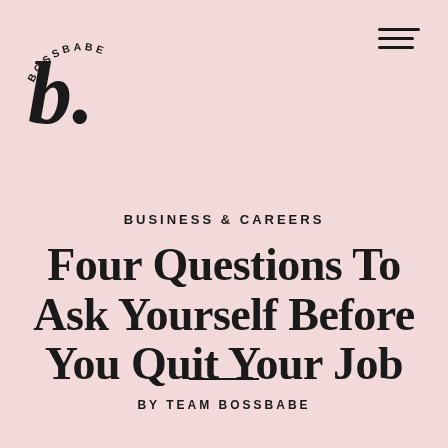[Figure (logo): Bossbabe logo with circular arced text 'BOSSBABE' above a large italic bold lowercase 'b.' lettermark]
BUSINESS & CAREERS
Four Questions To Ask Yourself Before You Quit Your Job
BY TEAM BOSSBABE